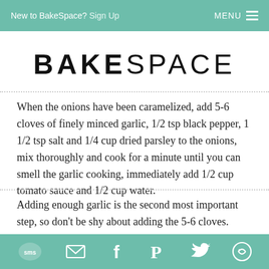New to BakeSpace? Sign Up   MENU
BAKESPACE
When the onions have been caramelized, add 5-6 cloves of finely minced garlic, 1/2 tsp black pepper, 1 1/2 tsp salt and 1/4 cup dried parsley to the onions, mix thoroughly and cook for a minute until you can smell the garlic cooking, immediately add 1/2 cup tomato sauce and 1/2 cup water.
Adding enough garlic is the second most important step, so don't be shy about adding the 5-6 cloves.
SMS  [email]  f  P  [twitter]  [share]